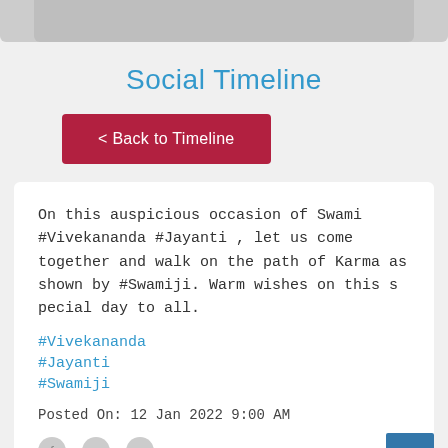[Figure (photo): Partial bottom of a photo, light gray/beige tones, cropped]
Social Timeline
< Back to Timeline
On this auspicious occasion of Swami #Vivekananda #Jayanti , let us come together and walk on the path of Karma as shown by #Swamiji. Warm wishes on this s pecial day to all.
#Vivekananda
#Jayanti
#Swamiji
Posted On: 12 Jan 2022 9:00 AM
[Figure (other): Social share icons: Facebook, Twitter, WhatsApp]